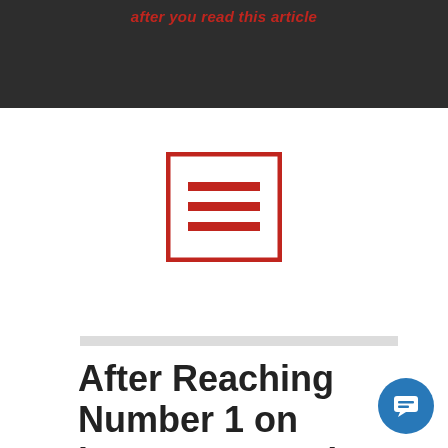after you read this article
[Figure (illustration): Red-bordered square with three horizontal red lines inside, representing a hamburger menu icon]
After Reaching Number 1 on iTunes, Struggle Jennings and Caitlynne Curtis